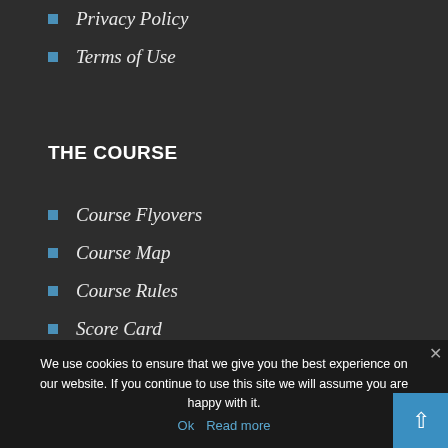Privacy Policy
Terms of Use
THE COURSE
Course Flyovers
Course Map
Course Rules
Score Card
We use cookies to ensure that we give you the best experience on our website. If you continue to use this site we will assume you are happy with it.
Ok  Read more
EVENTS